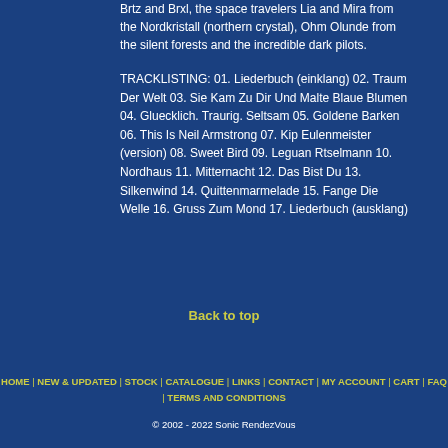Brtz and Brxl, the space travelers Lia and Mira from the Nordkristall (northern crystal), Ohm Olunde from the silent forests and the incredible dark pilots.
TRACKLISTING: 01. Liederbuch (einklang) 02. Traum Der Welt 03. Sie Kam Zu Dir Und Malte Blaue Blumen 04. Gluecklich. Traurig. Seltsam 05. Goldene Barken 06. This Is Neil Armstrong 07. Kip Eulenmeister (version) 08. Sweet Bird 09. Leguan Rtselmann 10. Nordhaus 11. Mitternacht 12. Das Bist Du 13. Silkenwind 14. Quittenmarmelade 15. Fange Die Welle 16. Gruss Zum Mond 17. Liederbuch (ausklang)
Back to top
HOME | NEW & UPDATED | STOCK | CATALOGUE | LINKS | CONTACT | MY ACCOUNT | CART | FAQ | TERMS AND CONDITIONS
© 2002 - 2022 Sonic RendezVous